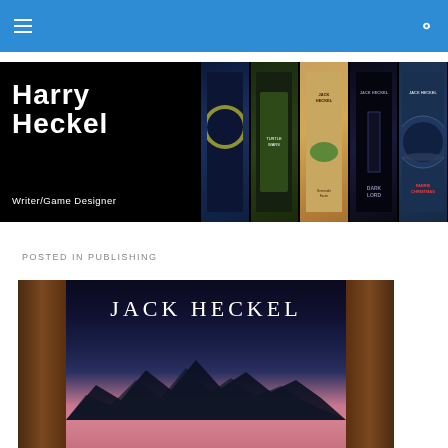Navigation bar with menu and search icons
[Figure (illustration): Harry Heckel Writer/Game Designer banner with book covers on black background]
POSTED IN PUBLISHING
[Figure (illustration): Jack Heckel book cover showing mountains through doorway with pink and blue sky]